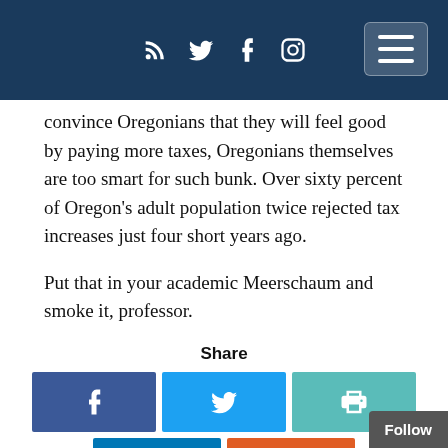Social media icons and navigation menu
convince Oregonians that they will feel good by paying more taxes, Oregonians themselves are too smart for such bunk. Over sixty percent of Oregon's adult population twice rejected tax increases just four years ago.
Put that in your academic Meerschaum and smoke it, professor.
Share
[Figure (infographic): Share buttons: Facebook, Twitter, Print, LinkedIn, Reddit]
Related posts:
1. WOODSMAN SPARE THAT DEAD TREE